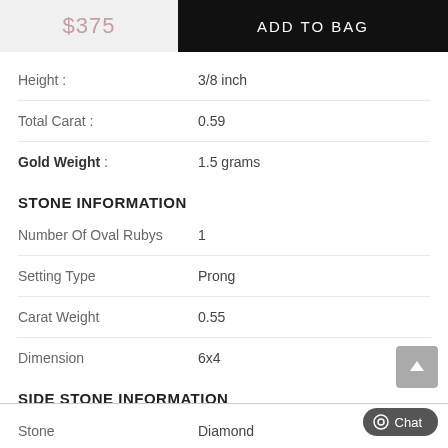$375
ADD TO BAG
| Property | Value |
| --- | --- |
| Height : | 3/8 inch |
| Total Carat : | 0.59 |
| Gold Weight : | 1.5 grams |
STONE INFORMATION
| Property | Value |
| --- | --- |
| Number Of Oval Rubys | 1 |
| Setting Type | Prong |
| Carat Weight | 0.55 |
| Dimension | 6x4 |
SIDE STONE INFORMATION
| Property | Value |
| --- | --- |
| Stone | Diamond |
| Shape | Round |
| Clarity | SI |
| Color | I-J |
| Setting Type | Prong |
| Carat Weight | 0.04 |